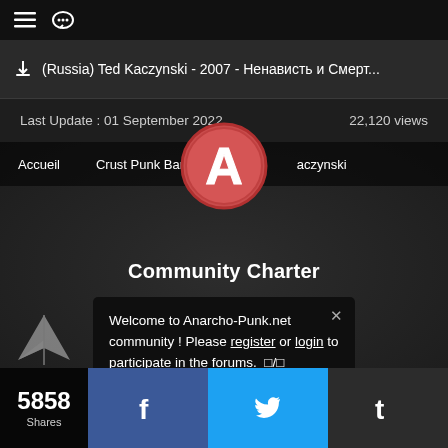≡ 💬
(Russia) Ted Kaczynski - 2007 - Ненависть и Смерт...
Last Update : 01 September 2022    22,120 views
[Figure (logo): Anarcho-Punk.net logo: red circle with white letter A inside]
Accueil    Crust Punk Bands    Kaczynski
Community Charter
Welcome to Anarcho-Punk.net community ! Please register or login to participate in the forums. □/□
5858 Shares